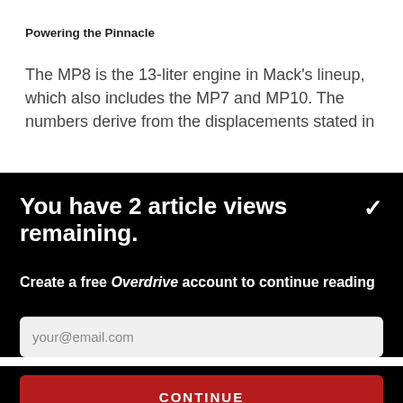Powering the Pinnacle
The MP8 is the 13-liter engine in Mack's lineup, which also includes the MP7 and MP10. The numbers derive from the displacements stated in
You have 2 article views remaining.
Create a free Overdrive account to continue reading
your@email.com
CONTINUE